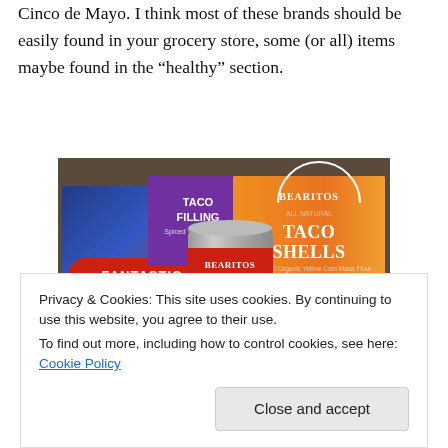Cinco de Mayo. I think most of these brands should be easily found in your grocery store, some (or all) items maybe found in the “healthy” section.
[Figure (photo): Photo of Mexican food products including Fantastic Foods Taco Filling box, Bearitos Taco Shells box, and Bearitos Low Fat Traditional Refried Beans Organic Vegetarian can, arranged on a surface.]
Privacy & Cookies: This site uses cookies. By continuing to use this website, you agree to their use.
To find out more, including how to control cookies, see here: Cookie Policy